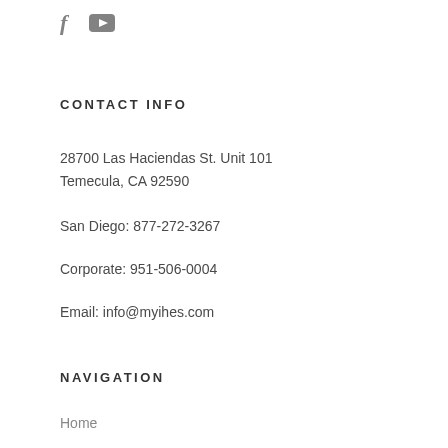[Figure (logo): Social media icons: Facebook (f) and YouTube (play button rectangle)]
CONTACT INFO
28700 Las Haciendas St. Unit 101
Temecula, CA 92590
San Diego: 877-272-3267
Corporate: 951-506-0004
Email: info@myihes.com
NAVIGATION
Home